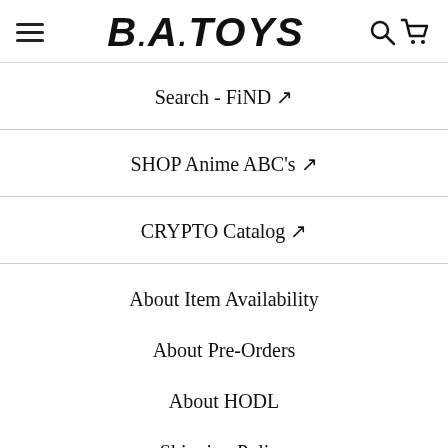B.A. TOYS
Search - FiND ↗
SHOP Anime ABC's ↗
CRYPTO Catalog ↗
About Item Availability
About Pre-Orders
About HODL
Shipping Policy
Refund Policy